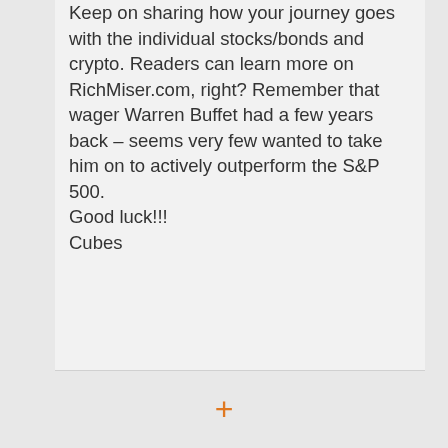Keep on sharing how your journey goes with the individual stocks/bonds and crypto. Readers can learn more on RichMiser.com, right? Remember that wager Warren Buffet had a few years back – seems very few wanted to take him on to actively outperform the S&P 500. Good luck!!! Cubes
Reply